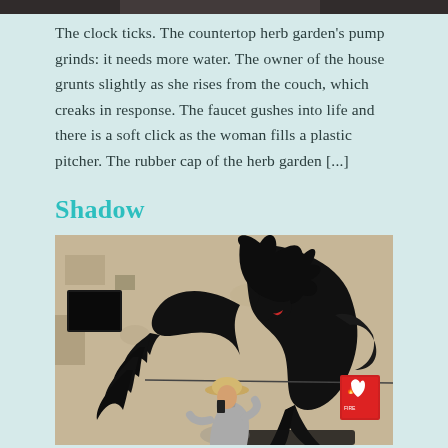[Figure (photo): Top strip of a photo, partially cut off at the top of the page — dark/muted tones suggesting a cropped image.]
The clock ticks. The countertop herb garden's pump grinds: it needs more water. The owner of the house grunts slightly as she rises from the couch, which creaks in response. The faucet gushes into life and there is a soft click as the woman fills a plastic pitcher. The rubber cap of the herb garden [...]
Shadow
[Figure (photo): Street art mural on a concrete wall showing a large black dragon/monster shadow looming over a man in a hat and hoodie who is walking by while talking on a phone.]